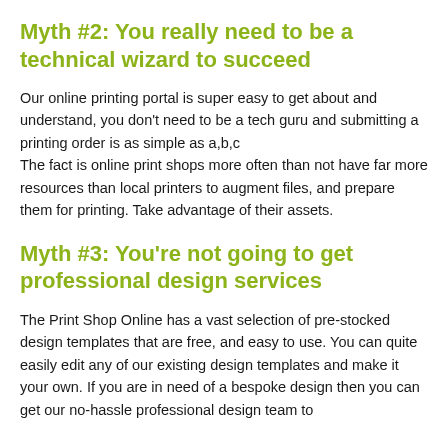Myth #2: You really need to be a technical wizard to succeed
Our online printing portal is super easy to get about and understand, you don't need to be a tech guru and submitting a printing order is as simple as a,b,c
The fact is online print shops more often than not have far more resources than local printers to augment files, and prepare them for printing. Take advantage of their assets.
Myth #3: You're not going to get professional design services
The Print Shop Online has a vast selection of pre-stocked design templates that are free, and easy to use. You can quite easily edit any of our existing design templates and make it your own. If you are in need of a bespoke design then you can get our no-hassle professional design team to